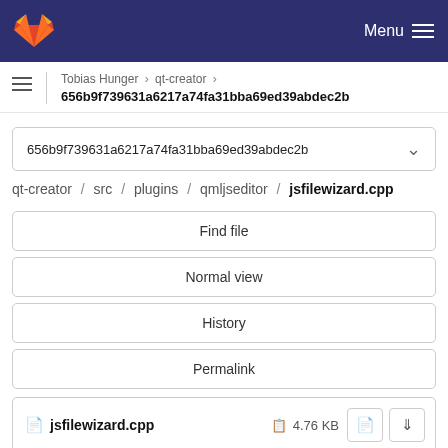GitLab navigation bar with Menu
Tobias Hunger > qt-creator > 656b9f739631a6217a74fa31bba69ed39abdec2b
656b9f739631a6217a74fa31bba69ed39abdec2b
qt-creator / src / plugins / qmljseditor / jsfilewizard.cpp
Find file
Normal view
History
Permalink
jsfilewizard.cpp  4.76 KB
Newer  Older